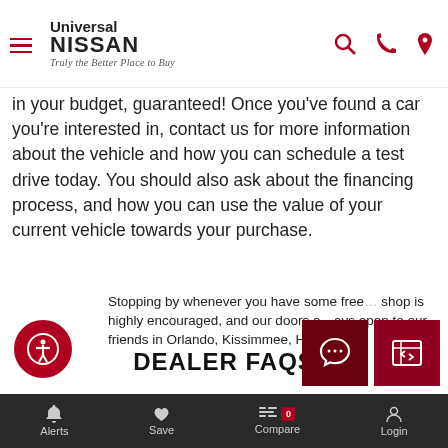Universal NISSAN — Truly the Better Place to Buy
in your budget, guaranteed! Once you've found a car you're interested in, contact us for more information about the vehicle and how you can schedule a test drive today. You should also ask about the financing process, and how you can use the value of your current vehicle towards your purchase.
DEALER FAQS
+ Do I need an appointment to shop at Universal Nissan?
Stopping by whenever you have some free... shop is highly encouraged, and our doors are always open to our friends in Orlando, Kissimmee, Hunters
Alerts  Save  Compare 0  Login